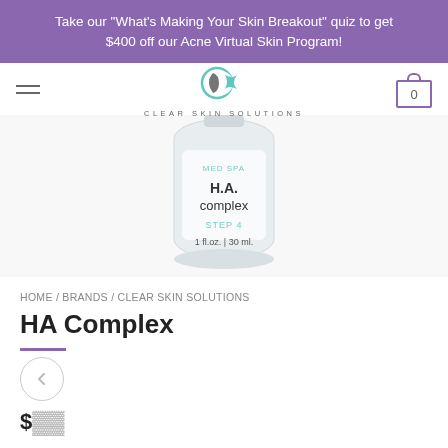Take our "What's Making Your Skin Breakout" quiz to get $400 off our Acne Virtual Skin Program!
[Figure (logo): Clear Skin Solutions logo with teal crescent moon and bird icon, text reading CLEAR SKIN SOLUTIONS below]
[Figure (photo): White cylindrical skincare product bottle labeled H.A. complex, MED SPA, STEP 4, 1 fl.oz. | 30 ml.]
HOME / BRANDS / CLEAR SKIN SOLUTIONS
HA Complex